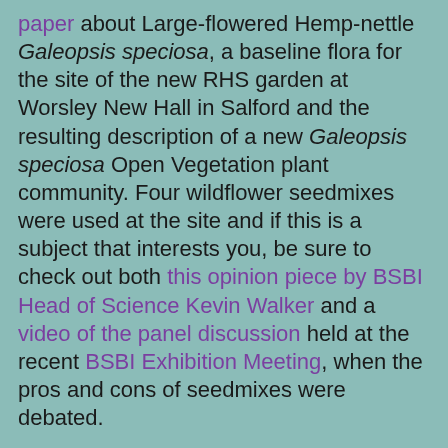paper about Large-flowered Hemp-nettle Galeopsis speciosa, a baseline flora for the site of the new RHS garden at Worsley New Hall in Salford and the resulting description of a new Galeopsis speciosa Open Vegetation plant community. Four wildflower seedmixes were used at the site and if this is a subject that interests you, be sure to check out both this opinion piece by BSBI Head of Science Kevin Walker and a video of the panel discussion held at the recent BSBI Exhibition Meeting, when the pros and cons of seedmixes were debated.
Two papers from the Republic of Ireland: first Darach Lupton and Micheline Sheehy Skeffington review the ecology and status of the Kerry Lily Simethis mattiazzi in
[Figure (photo): Photograph of white star-shaped flowers (Kerry Lily Simethis mattiazzi) with yellow centres, surrounded by dark purple berry clusters and green stems against a dark green foliage background.]